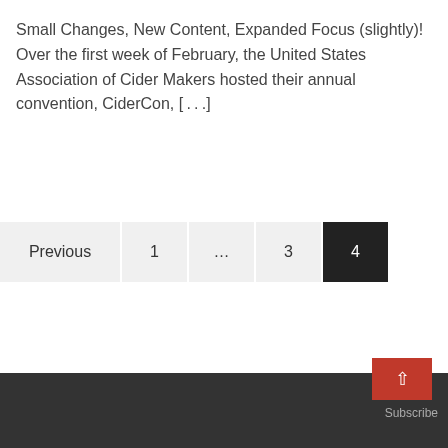Small Changes, New Content, Expanded Focus (slightly)! Over the first week of February, the United States Association of Cider Makers hosted their annual convention, CiderCon, [...]
Previous  1  ...  3  4
Subscribe